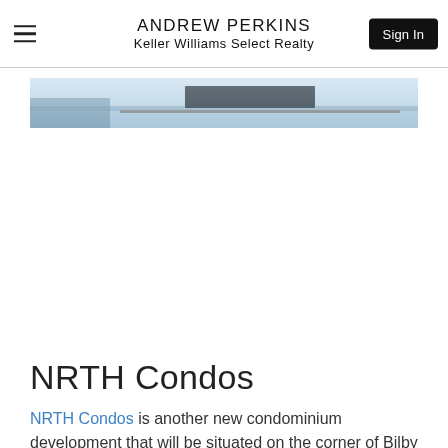ANDREW PERKINS
Keller Williams Select Realty
[Figure (photo): Exterior photo of NRTH Condos building showing sky and roofline with a dark rectangular sign element]
NRTH Condos
NRTH Condos is another new condominium development that will be situated on the corner of Bilby